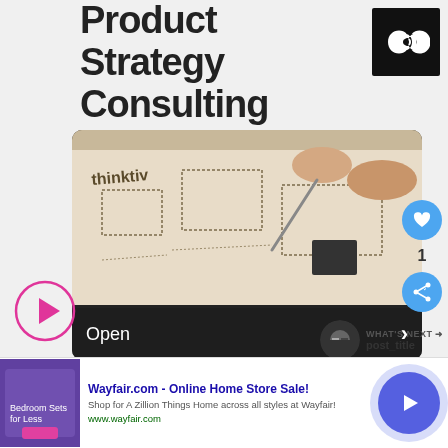Product Strategy Consulting
[Figure (logo): Black square with white infinity symbol logo]
[Figure (photo): Photo showing a hand using a stylus/pen to sketch wireframes and diagrams on paper, with 'thinktiv' branding visible]
Open
[Figure (illustration): Pink circle play button icon]
1
WHAT'S NEXT → post_title
Wayfair.com - Online Home Store Sale!
Shop for A Zillion Things Home across all styles at Wayfair!
www.wayfair.com